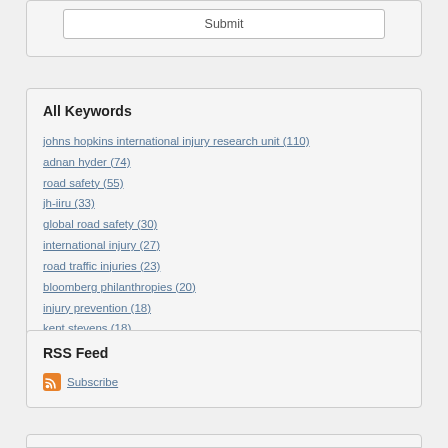Submit
All Keywords
johns hopkins international injury research unit (110)
adnan hyder (74)
road safety (55)
jh-iiru (33)
global road safety (30)
international injury (27)
road traffic injuries (23)
bloomberg philanthropies (20)
injury prevention (18)
kent stevens (18)
RSS Feed
Subscribe